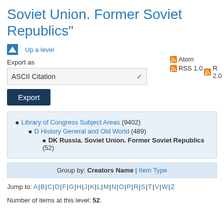Soviet Union. Former Soviet Republics"
Up a level
Export as
ASCII Citation
Export
Atom RSS 1.0 R 2.0
Library of Congress Subject Areas (9402)
D History General and Old World (489)
DK Russia. Soviet Union. Former Soviet Republics (52)
Group by: Creators Name | Item Type
Jump to: A | B | C | D | F | G | H | J | K | L | M | N | O | P | R | S | T | V | W | Z
Number of items at this level: 52.